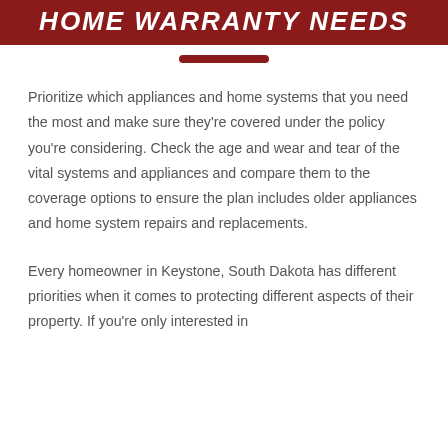HOME WARRANTY NEEDS
Prioritize which appliances and home systems that you need the most and make sure they're covered under the policy you're considering. Check the age and wear and tear of the vital systems and appliances and compare them to the coverage options to ensure the plan includes older appliances and home system repairs and replacements.
Every homeowner in Keystone, South Dakota has different priorities when it comes to protecting different aspects of their property. If you're only interested in